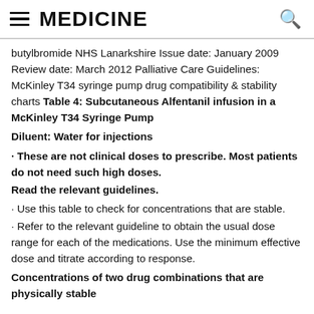MEDICINE
butylbromide NHS Lanarkshire Issue date: January 2009 Review date: March 2012 Palliative Care Guidelines: McKinley T34 syringe pump drug compatibility & stability charts Table 4: Subcutaneous Alfentanil infusion in a McKinley T34 Syringe Pump
Diluent: Water for injections
These are not clinical doses to prescribe. Most patients do not need such high doses.
Read the relevant guidelines.
Use this table to check for concentrations that are stable.
Refer to the relevant guideline to obtain the usual dose range for each of the medications. Use the minimum effective dose and titrate according to response.
Concentrations of two drug combinations that are physically stable